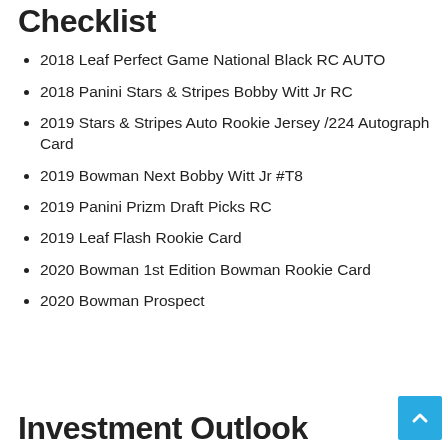Checklist
2018 Leaf Perfect Game National Black RC AUTO
2018 Panini Stars & Stripes Bobby Witt Jr RC
2019 Stars & Stripes Auto Rookie Jersey /224 Autograph Card
2019 Bowman Next Bobby Witt Jr #T8
2019 Panini Prizm Draft Picks RC
2019 Leaf Flash Rookie Card
2020 Bowman 1st Edition Bowman Rookie Card
2020 Bowman Prospect
Investment Outlook